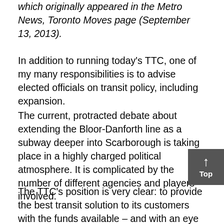which originally appeared in the Metro News, Toronto Moves page (September 13, 2013).
In addition to running today's TTC, one of my many responsibilities is to advise elected officials on transit policy, including expansion.
The current, protracted debate about extending the Bloor-Danforth line as a subway deeper into Scarborough is taking place in a highly charged political atmosphere. It is complicated by the number of different agencies and players involved.
The TTC's position is very clear: to provide the best transit solution to its customers with the funds available – and with an eye to future growth.